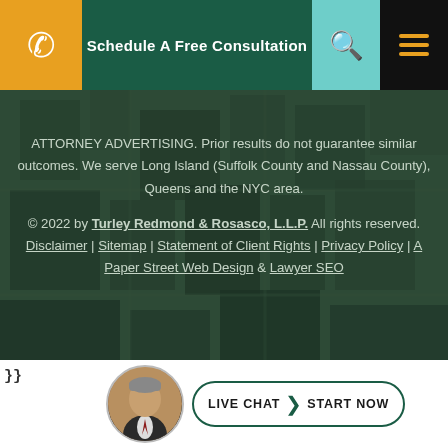Schedule A Free Consultation
[Figure (screenshot): Aerial city/urban background photo with dark green overlay, used as footer background]
ATTORNEY ADVERTISING. Prior results do not guarantee similar outcomes. We serve Long Island (Suffolk County and Nassau County), Queens and the NYC area.
© 2022 by Turley Redmond & Rosasco, L.L.P. All rights reserved. Disclaimer | Sitemap | Statement of Client Rights | Privacy Policy | A Paper Street Web Design & Lawyer SEO
LIVE CHAT | START NOW